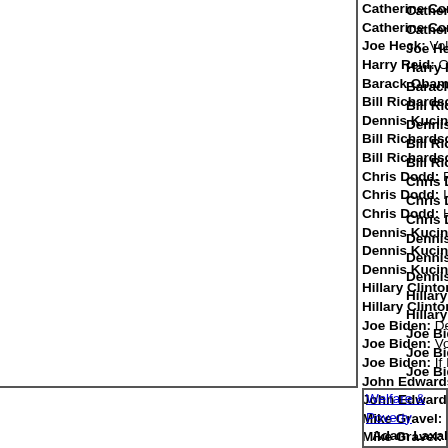Catherine Cortez Masto: Declare war on ISIS; arm a
Catherine Cortez Masto: Declare war on ISIS before
Joe Heck: Volunteered to serve in Iraq.
Harry Reid: OpEd: saying Iraq war was lost embolde
Barack Obama: Surge strategy has made a differenc
Bill Richardson: Donor conference: get EU & Arabs
Dennis Kucinich: The surge strategy is fueling the i
Bill Richardson: Congress authorized this war; now
Bill Richardson: Find ways to withdraw from Iraq, bu
Chris Dodd: Re-deploy out of refereeing a civil war.
Chris Dodd: I made mistake in authorizing war; do n
Chris Dodd: How much more chaos could we be cre
Dennis Kucinich: I voted against war because I saw
Dennis Kucinich: Cut off the funds; end the occupat
Dennis Kucinich: Reparations to Iraq for 650,000 in
Hillary Clinton: Require Bush to redeploy or seek ac
Hillary Clinton: Takes responsibility for Iraq war vote
Joe Biden: Decentralize Iraq to give people control o
Joe Biden: Vote for Iraq War was mistake; assumed
Joe Biden: If Iraq metastasizes into regional war, it'll
John Edwards: Draw down 40,000 to 50,000 troops
John Edwards: Wrong on Iraq war vote about WMD
Mike Gravel: 2008 election will be decided by how D
Mike Gravel: Bush can sign bill to end war, or he can
Tom Vilsack: National Guard too busy in Iraq handle
Tom Vilsack: The war needs to be ended now, not in
Tom Vilsack: Congress should remove funding for th
Welfare & Poverty
Adam Laxalt: Develop new affordable housing witho
Steve Sisolak: Expedited permitting for affordable ho
Brian Sandoval: $1.5M more for Meals-on-Wheels fo